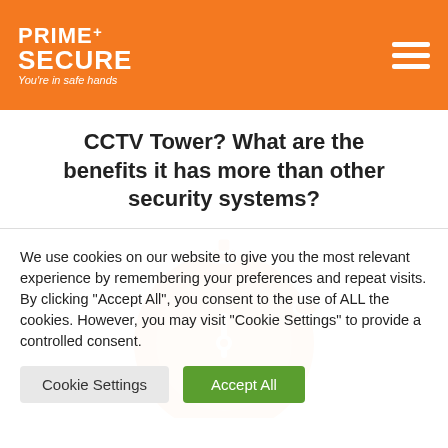[Figure (logo): Prime Secure logo — white text on orange background with tagline 'You're in safe hands']
CCTV Tower? What are the benefits it has more than other security systems?
[Figure (illustration): Orange stopwatch icon on white background]
We use cookies on our website to give you the most relevant experience by remembering your preferences and repeat visits. By clicking "Accept All", you consent to the use of ALL the cookies. However, you may visit "Cookie Settings" to provide a controlled consent.